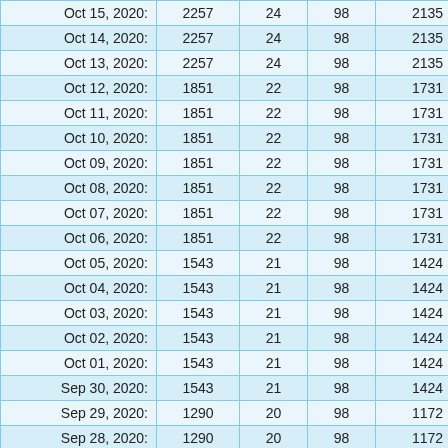| Oct 15, 2020: | 2257 | 24 | 98 | 2135 |
| Oct 14, 2020: | 2257 | 24 | 98 | 2135 |
| Oct 13, 2020: | 2257 | 24 | 98 | 2135 |
| Oct 12, 2020: | 1851 | 22 | 98 | 1731 |
| Oct 11, 2020: | 1851 | 22 | 98 | 1731 |
| Oct 10, 2020: | 1851 | 22 | 98 | 1731 |
| Oct 09, 2020: | 1851 | 22 | 98 | 1731 |
| Oct 08, 2020: | 1851 | 22 | 98 | 1731 |
| Oct 07, 2020: | 1851 | 22 | 98 | 1731 |
| Oct 06, 2020: | 1851 | 22 | 98 | 1731 |
| Oct 05, 2020: | 1543 | 21 | 98 | 1424 |
| Oct 04, 2020: | 1543 | 21 | 98 | 1424 |
| Oct 03, 2020: | 1543 | 21 | 98 | 1424 |
| Oct 02, 2020: | 1543 | 21 | 98 | 1424 |
| Oct 01, 2020: | 1543 | 21 | 98 | 1424 |
| Sep 30, 2020: | 1543 | 21 | 98 | 1424 |
| Sep 29, 2020: | 1290 | 20 | 98 | 1172 |
| Sep 28, 2020: | 1290 | 20 | 98 | 1172 |
| Sep 27, 2020: | 1290 | 20 | 98 | 1172 |
| Sep 26, 2020: | 1290 | 20 | 98 | 1172 |
| Sep 25, 2020: | 1290 | 20 | 98 | 1172 |
| Sep 24, 2020: | 1290 | 20 | 98 | 1172 |
| Sep 23, 2020: | 1290 | 20 | 98 | 1172 |
| Sep 22, 2020: | 1290 | 20 | 98 | 1172 |